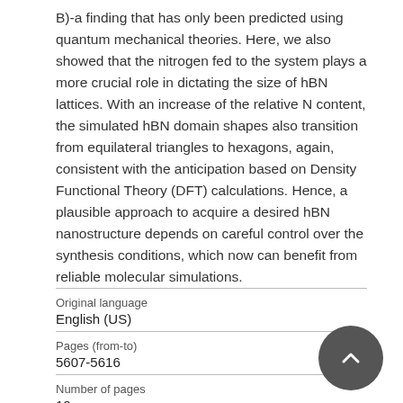B)-a finding that has only been predicted using quantum mechanical theories. Here, we also showed that the nitrogen fed to the system plays a more crucial role in dictating the size of hBN lattices. With an increase of the relative N content, the simulated hBN domain shapes also transition from equilateral triangles to hexagons, again, consistent with the anticipation based on Density Functional Theory (DFT) calculations. Hence, a plausible approach to acquire a desired hBN nanostructure depends on careful control over the synthesis conditions, which now can benefit from reliable molecular simulations.
| Field | Value |
| --- | --- |
| Original language | English (US) |
| Pages (from-to) | 5607-5616 |
| Number of pages | 10 |
| Journal | Nanoscale |